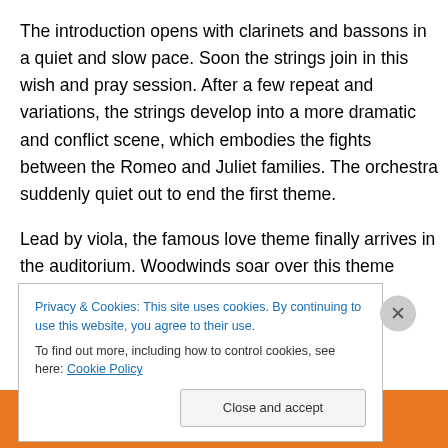The introduction opens with clarinets and bassons in a quiet and slow pace. Soon the strings join in this wish and pray session. After a few repeat and variations, the strings develop into a more dramatic and conflict scene, which embodies the fights between the Romeo and Juliet families. The orchestra suddenly quiet out to end the first theme.
Lead by viola, the famous love theme finally arrives in the auditorium. Woodwinds soar over this theme again accompanied by harp and strings. Development session
[Figure (screenshot): Cookie consent banner with text: 'Privacy & Cookies: This site uses cookies. By continuing to use this website, you agree to their use. To find out more, including how to control cookies, see here: Cookie Policy'. Contains a close X button and 'Close and accept' button.]
[Figure (other): Orange advertisement banner with white text 'email with more privacy.' and a DuckDuckGo duck icon on the right.]